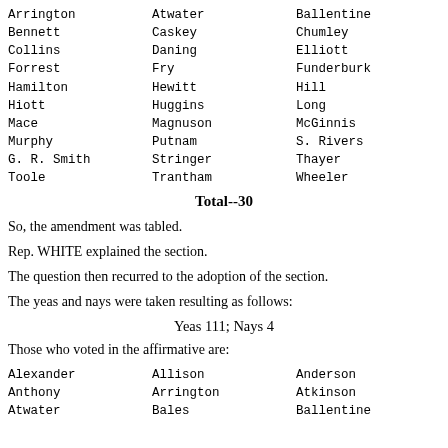Arrington  Atwater  Ballentine
Bennett  Caskey  Chumley
Collins  Daning  Elliott
Forrest  Fry  Funderburk
Hamilton  Hewitt  Hill
Hiott  Huggins  Long
Mace  Magnuson  McGinnis
Murphy  Putnam  S. Rivers
G. R. Smith  Stringer  Thayer
Toole  Trantham  Wheeler
Total--30
So, the amendment was tabled.
Rep. WHITE explained the section.
The question then recurred to the adoption of the section.
The yeas and nays were taken resulting as follows:
Yeas 111; Nays 4
Those who voted in the affirmative are:
Alexander  Allison  Anderson
Anthony  Arrington  Atkinson
Atwater  Bales  Ballentine